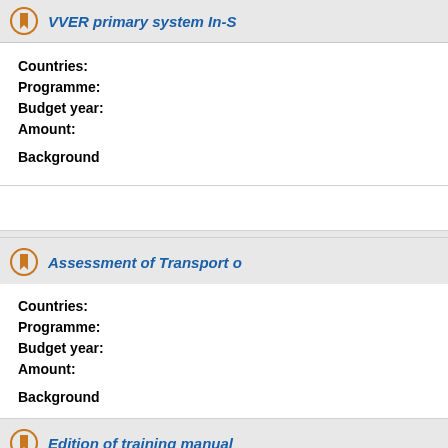VVER primary system In-S...
Countries:
Programme:
Budget year:
Amount:

Background
Assessment of Transport o...
Countries:
Programme:
Budget year:
Amount:

Background
Edition of training manual...